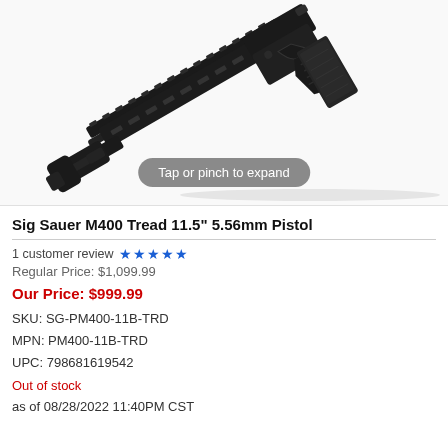[Figure (photo): Black Sig Sauer M400 Tread 11.5 inch pistol shown at an angle on white background with 'Tap or pinch to expand' overlay]
Sig Sauer M400 Tread 11.5" 5.56mm Pistol
1 customer review ★★★★★
Regular Price: $1,099.99
Our Price: $999.99
SKU: SG-PM400-11B-TRD
MPN: PM400-11B-TRD
UPC: 798681619542
Out of stock
as of 08/28/2022 11:40PM CST